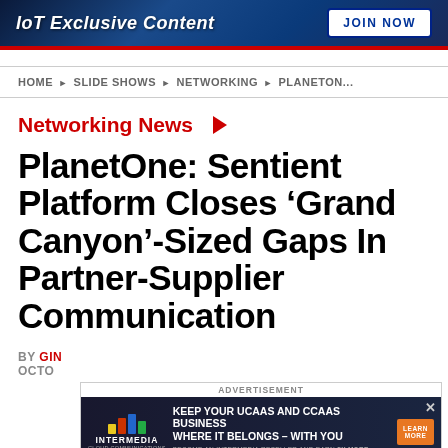[Figure (screenshot): Top banner advertisement with dark blue background showing 'IoT Exclusive Content' text and 'JOIN NOW' button]
HOME ► SLIDE SHOWS ► NETWORKING ► PLANETON...
Networking News ►
PlanetOne: Sentient Platform Closes 'Grand Canyon'-Sized Gaps In Partner-Supplier Communication
BY GIN... OCTO...
[Figure (screenshot): Intermedia advertisement banner: 'KEEP YOUR UCAAS AND CCAAS BUSINESS WHERE IT BELONGS – WITH YOU' with LEARN MORE button]